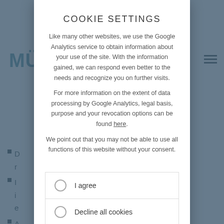COOKIE SETTINGS
Like many other websites, we use the Google Analytics service to obtain information about your use of the site. With the information gained, we can respond even better to the needs and recognize you on further visits.
For more information on the extent of data processing by Google Analytics, legal basis, purpose and your revocation options can be found here.
We point out that you may not be able to use all functions of this website without your consent.
I agree
Decline all cookies
PLEASE SELECT TO CONTINUE
MORE INFORMATION